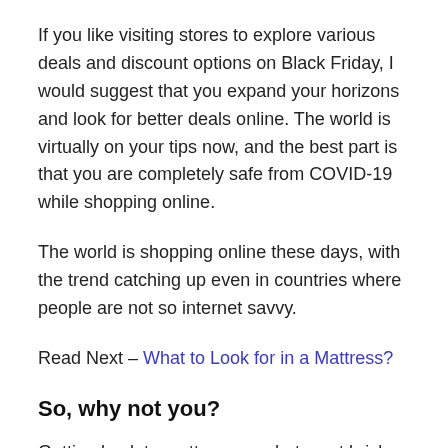If you like visiting stores to explore various deals and discount options on Black Friday, I would suggest that you expand your horizons and look for better deals online. The world is virtually on your tips now, and the best part is that you are completely safe from COVID-19 while shopping online.
The world is shopping online these days, with the trend catching up even in countries where people are not so internet savvy.
Read Next – What to Look for in a Mattress?
So, why not you?
Getting back to mattresses, what most brick and mortar stores do is that they encourage you to lie down on a mattress for a few minutes before you purchase, because they...